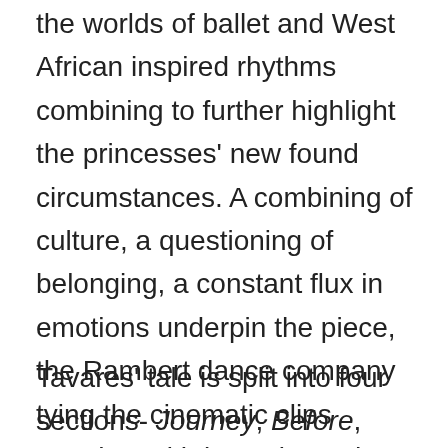the worlds of ballet and West African inspired rhythms combining to further highlight the princesses' new found circumstances. A combining of culture, a questioning of belonging, a constant flux in emotions underpin the piece, the Rambert dance company tying the cinematic clips together with intensity and immediacy – giving the show its live element.
Tavares' tale is split into four sections- Journey, Before, Journey and